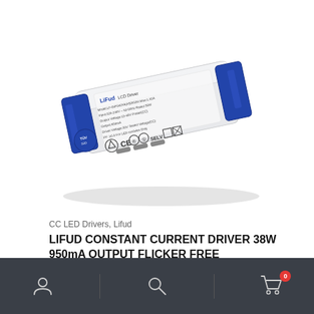[Figure (photo): LiFud LED Driver product photo - white and blue rectangular constant current LED driver unit with certification marks (CE, SELV, etc.)]
CC LED Drivers, Lifud
LIFUD CONSTANT CURRENT DRIVER 38W 950mA OUTPUT FLICKER FREE
SKU: LF-GIF040YA(H)0950H